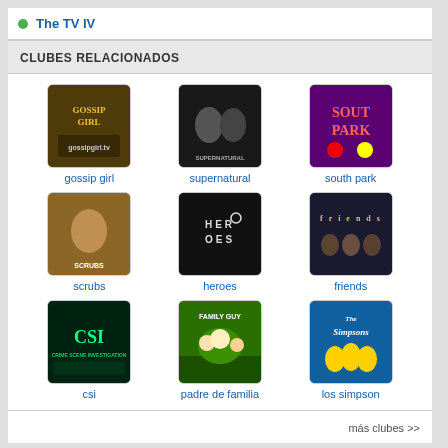The TV IV
CLUBES RELACIONADOS
[Figure (screenshot): Grid of 9 TV show club thumbnails with labels: gossip girl, supernatural, south park, scrubs, heroes, friends, csi, padre de familia, los simpson]
más clubes >>